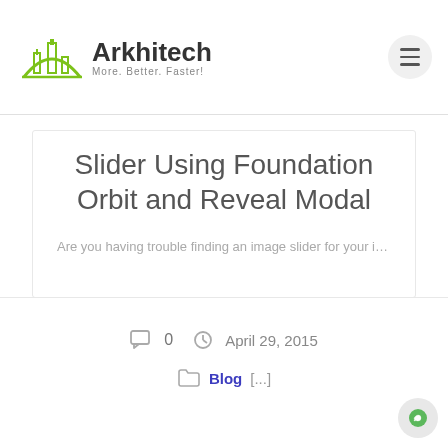Arkhitech — More. Better. Faster!
Slider Using Foundation Orbit and Reveal Modal
Are you having trouble finding an image slider for your imag…
0   April 29, 2015
Blog  [...]